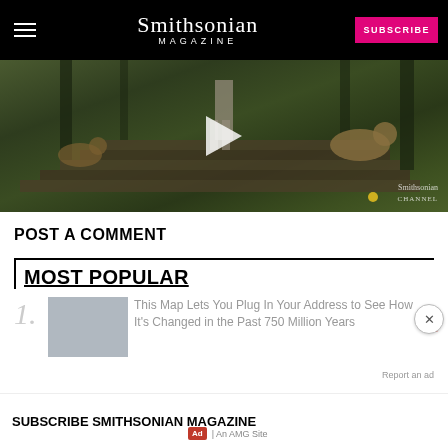Smithsonian MAGAZINE | SUBSCRIBE
[Figure (screenshot): Video thumbnail showing wildlife scene with lions on stone steps in a forested area. Play button visible in center. Smithsonian Channel watermark in bottom right.]
POST A COMMENT
MOST POPULAR
1. This Map Lets You Plug In Your Address to See How It's Changed in the Past 750 Million Years
Report an ad
SUBSCRIBE SMITHSONIAN MAGAZINE
Ad | An AMG Site